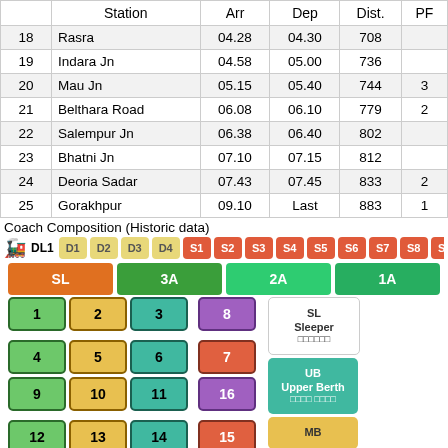|  | Station | Arr | Dep | Dist. | PF |
| --- | --- | --- | --- | --- | --- |
| 18 | Rasra | 04.28 | 04.30 | 708 |  |
| 19 | Indara Jn | 04.58 | 05.00 | 736 |  |
| 20 | Mau Jn | 05.15 | 05.40 | 744 | 3 |
| 21 | Belthara Road | 06.08 | 06.10 | 779 | 2 |
| 22 | Salempur Jn | 06.38 | 06.40 | 802 |  |
| 23 | Bhatni Jn | 07.10 | 07.15 | 812 |  |
| 24 | Deoria Sadar | 07.43 | 07.45 | 833 | 2 |
| 25 | Gorakhpur | 09.10 | Last | 883 | 1 |
Coach Composition (Historic data)
🚂 DL1 D1 D2 D3 D4 S1 S2 S3 S4 S5 S6 S7 S8 S9 S10 B...
[Figure (infographic): Coach seating/berth layout diagram showing SL, 3A, 2A, 1A class labels and numbered berths (1-24) in colored boxes (green, yellow, teal, purple, orange/red), with a legend showing SL Sleeper, UB Upper Berth, MB Middle Berth]